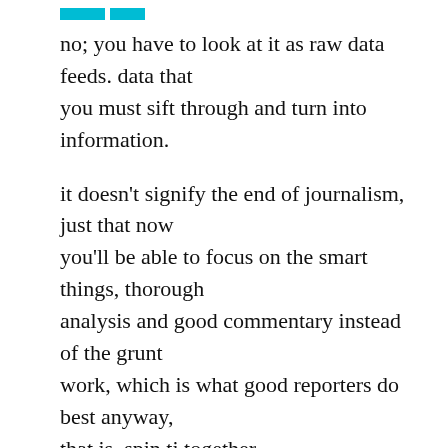no; you have to look at it as raw data feeds. data that you must sift through and turn into information.
it doesn't signify the end of journalism, just that now you'll be able to focus on the smart things, thorough analysis and good commentary instead of the grunt work, which is what good reporters do best anyway, that is, spin ti together.
One thing that the media should understand is that